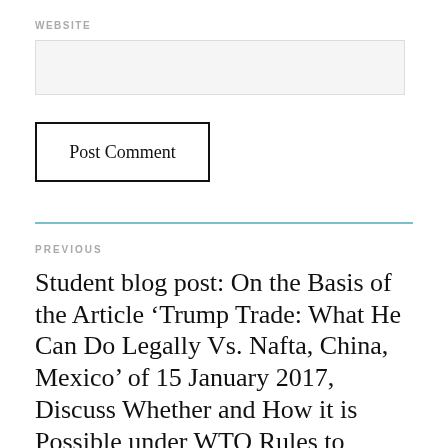WEBSITE
Post Comment
PREVIOUS
Student blog post: On the Basis of the Article ‘Trump Trade: What He Can Do Legally Vs. Nafta, China, Mexico’ of 15 January 2017, Discuss Whether and How it is Possible under WTO Rules to Protect one’s Industry.